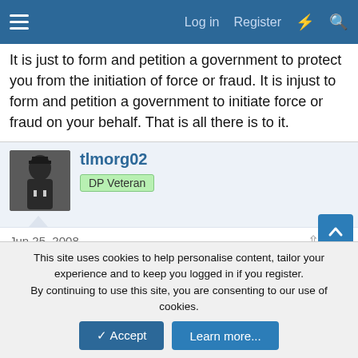Log in  Register
It is just to form and petition a government to protect you from the initiation of force or fraud. It is injust to form and petition a government to initiate force or fraud on your behalf. That is all there is to it.
tlmorg02
DP Veteran
Jun 25, 2008
#21
I have greatly enjoyed this discussion. I would simply add that in order to reach a form of government advocated in the video, the constitution of the United States would need to be thrown out and a new one formed.
This site uses cookies to help personalise content, tailor your experience and to keep you logged in if you register.
By continuing to use this site, you are consenting to our use of cookies.